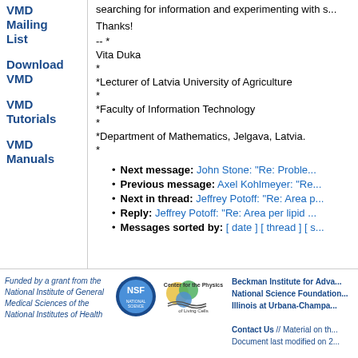VMD Mailing List
Download VMD
VMD Tutorials
VMD Manuals
searching for information and experimenting with s...
Thanks!
-- *
Vita Duka
*
*Lecturer of Latvia University of Agriculture
*
*Faculty of Information Technology
*
*Department of Mathematics, Jelgava, Latvia.
*
Next message: John Stone: "Re: Proble..."
Previous message: Axel Kohlmeyer: "Re..."
Next in thread: Jeffrey Potoff: "Re: Area p..."
Reply: Jeffrey Potoff: "Re: Area per lipid ..."
Messages sorted by: [ date ] [ thread ] [ s..."
Funded by a grant from the National Institute of General Medical Sciences of the National Institutes of Health | Beckman Institute for Adva... National Science Foundation... Illinois at Urbana-Champa... Contact Us // Material on th... Document last modified on 2...